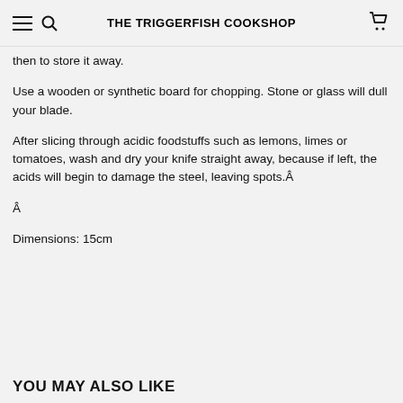THE TRIGGERFISH COOKSHOP
then to store it away.
Use a wooden or synthetic board for chopping. Stone or glass will dull your blade.
After slicing through acidic foodstuffs such as lemons, limes or tomatoes, wash and dry your knife straight away, because if left, the acids will begin to damage the steel, leaving spots.Â
Â
Dimensions: 15cm
YOU MAY ALSO LIKE